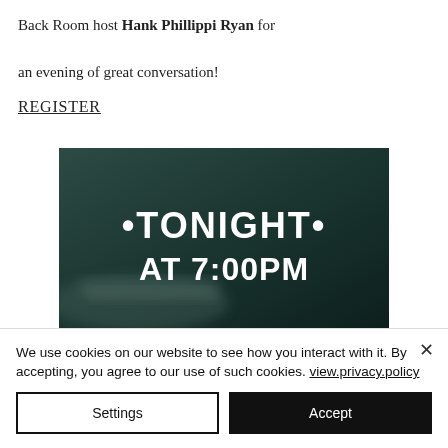Back Room host Hank Phillippi Ryan for an evening of great conversation!
REGISTER
[Figure (illustration): Dark teal/green background image with a blurred open book in the lower left. Centered white bold text reads '•TONIGHT•' on the first line and 'AT 7:00PM' on the second line.]
We use cookies on our website to see how you interact with it. By accepting, you agree to our use of such cookies. view.privacy.policy
Settings
Accept